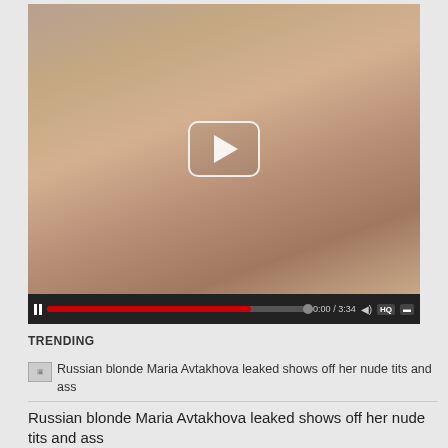[Figure (screenshot): Video player showing adult content with playback controls including pause button, red progress bar, time display 0:00/3:34, volume icon, HQ button, and CC button]
TRENDING
Russian blonde Maria Avtakhova leaked shows off her nude tits and ass
Russian blonde Maria Avtakhova leaked shows off her nude tits and ass
Tommiejobabe OnlyFans Leaks (42 Photos)